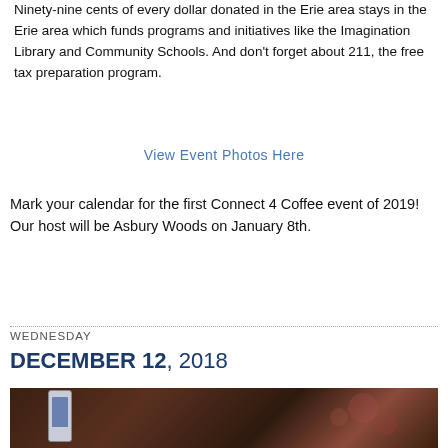Ninety-nine cents of every dollar donated in the Erie area stays in the Erie area which funds programs and initiatives like the Imagination Library and Community Schools. And don't forget about 211, the free tax preparation program.
View Event Photos Here
Mark your calendar for the first Connect 4 Coffee event of 2019! Our host will be Asbury Woods on January 8th.
WEDNESDAY
DECEMBER 12, 2018
[Figure (photo): A photo showing a smartphone and blurred bokeh background with warm dark reddish-brown tones.]